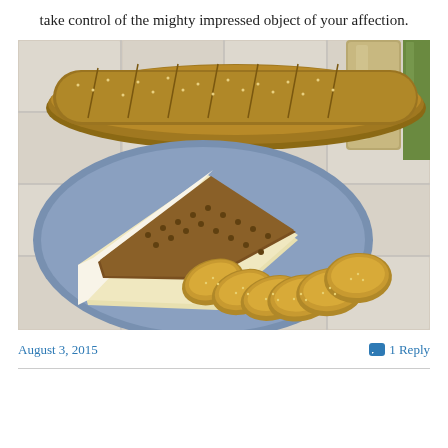take control of the mighty impressed object of your affection.
[Figure (photo): A blue ceramic plate with a wedge of brie cheese topped with chopped nuts and brown sugar glaze, surrounded by sliced sesame seed baguette rounds. In the background, an unsliced sesame seed baguette loaf, a glass jar, and a bottle are visible on a white tile surface.]
August 3, 2015
1 Reply